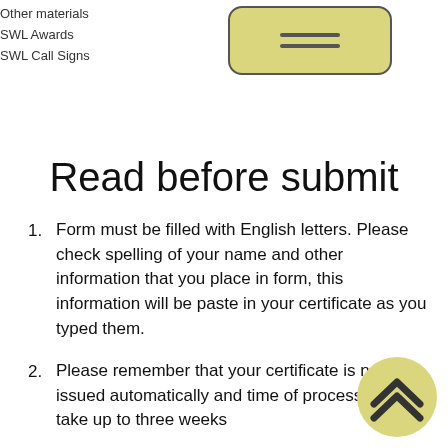Other materials
SWL Awards
SWL Call Signs
[Figure (illustration): Menu icon: a rounded rectangle with tan/olive background and two horizontal lines representing a hamburger menu button]
Read before submit
Form must be filled with English letters. Please check spelling of your name and other information that you place in form, this information will be paste in your certificate as you typed them.
Please remember that your certificate is not issued automatically and time of processing can take up to three weeks
All fields surrounded by blue border are required to fill
[Figure (illustration): Scroll-to-top button: a circular olive/tan button with two upward-pointing chevron arrows]